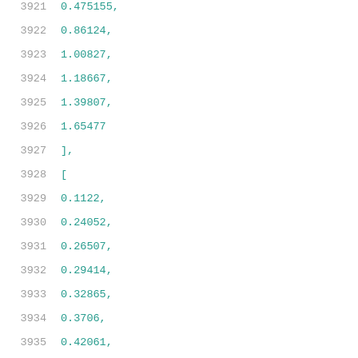3921    0.475155,
3922    0.86124,
3923    1.00827,
3924    1.18667,
3925    1.39807,
3926    1.65477
3927    ],
3928    [
3929    0.1122,
3930    0.24052,
3931    0.26507,
3932    0.29414,
3933    0.32865,
3934    0.3706,
3935    0.42061,
3936    0.47991,
3937    0.55206,
3938    0.63706,
3939    0.74111,
3940    0.86313,
3941    1.01184,
3942    1.18824,